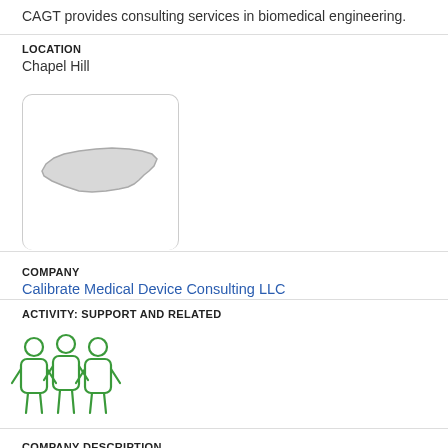CAGT provides consulting services in biomedical engineering.
LOCATION
Chapel Hill
[Figure (map): Small map thumbnail showing the state of North Carolina outline]
COMPANY
Calibrate Medical Device Consulting LLC
ACTIVITY: SUPPORT AND RELATED
[Figure (illustration): Green icon showing three people figures representing a team or group]
COMPANY DESCRIPTION
Calibrate provides medical device consulting services.